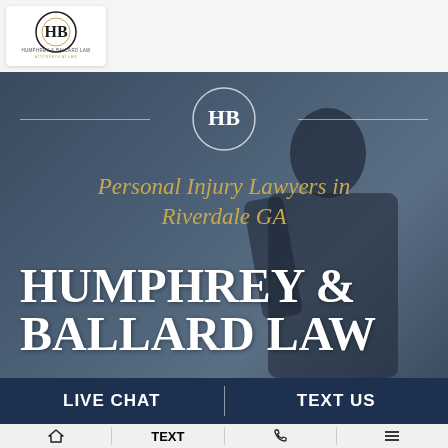[Figure (logo): Humphrey & Ballard Law logo - HB monogram in circle with gold and black design, white background box in top left corner]
[Figure (photo): Hero banner with dark blue-grey overlay showing a man in a suit adjusting his collar, with HB circle logo and decorative horizontal lines at top center]
Personal Injury Lawyers in Riverdale GA
HUMPHREY & BALLARD LAW
LIVE CHAT
TEXT US
🏠  TEXT  📞  ≡